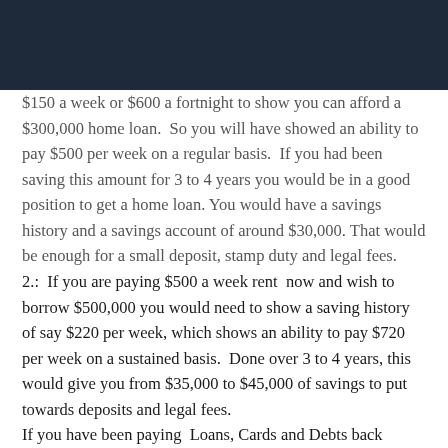[Logo and navigation header]
$150 a week or $600 a fortnight to show you can afford a $300,000 home loan.  So you will have showed an ability to pay $500 per week on a regular basis.  If you had been saving this amount for 3 to 4 years you would be in a good position to get a home loan. You would have a savings history and a savings account of around $30,000. That would be enough for a small deposit, stamp duty and legal fees.
2.:  If you are paying $500 a week rent  now and wish to borrow $500,000 you would need to show a saving history of say $220 per week, which shows an ability to pay $720 per week on a sustained basis.  Done over 3 to 4 years, this would give you from $35,000 to $45,000 of savings to put towards deposits and legal fees.
If you have been paying  Loans, Cards and Debts back